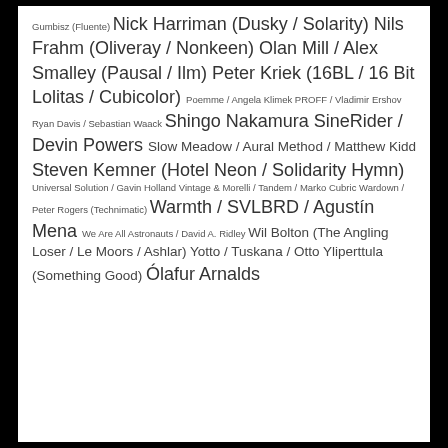Gumbisz (Fluente) Nick Harriman (Dusky / Solarity) Nils Frahm (Oliveray / Nonkeen) Olan Mill / Alex Smalley (Pausal / Ilm) Peter Kriek (16BL / 16 Bit Lolitas / Cubicolor) Poemme / Angela Klimek PROFF / Vladimir Ershov Ryan Davis / Sebastian Waack Shingo Nakamura SineRider / Devin Powers Slow Meadow / Aural Method / Matthew Kidd Steven Kemner (Hotel Neon / Solidarity Hymn) Universal Solution / Gavin Holland Vintage & Morelli / Tandem / Marko Cubric Wardown / Peter Rogers (Technimatic) Warmth / SVLBRD / Agustín Mena We Are All Astronauts / David A. Ridley Wil Bolton (The Angling Loser / Le Moors / Ashlar) Yotto / Tuskana / Otto Yliperttula (Something Good) Ólafur Arnalds